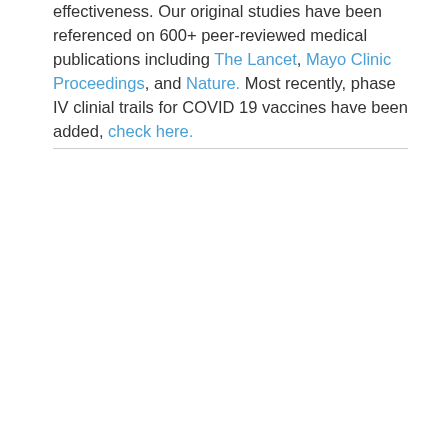effectiveness. Our original studies have been referenced on 600+ peer-reviewed medical publications including The Lancet, Mayo Clinic Proceedings, and Nature. Most recently, phase IV clinial trails for COVID 19 vaccines have been added, check here.